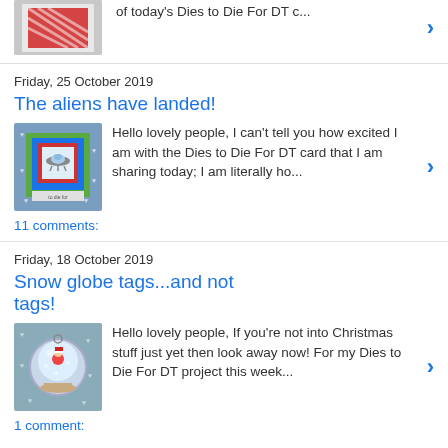[Figure (photo): Partial thumbnail of a Christmas card with red and diagonal stripe pattern, top of page]
of today's  Dies to Die For  DT c...
Friday, 25 October 2019
The aliens have landed!
[Figure (photo): Thumbnail of a crafted card with alien/UFO design in a square frame, blue background with small hearts]
Hello lovely people, I can't tell you how excited I am with the  Dies to Die For  DT card that I am sharing today; I am literally ho...
11 comments:
Friday, 18 October 2019
Snow globe tags...and not tags!
[Figure (photo): Thumbnail of a snow globe craft project with Santa figure inside, grey background with hearts]
Hello lovely people, If you're not into Christmas stuff just yet then look away now! For my  Dies to Die For  DT project this week...
1 comment: